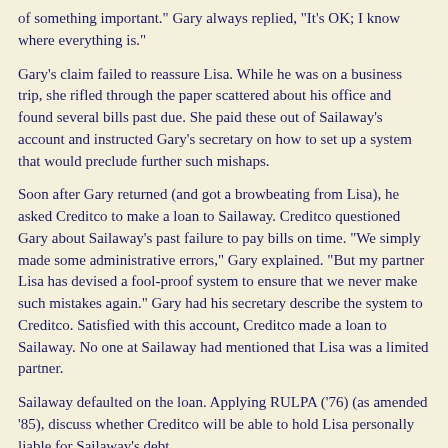of something important." Gary always replied, "It's OK; I know where everything is."
Gary's claim failed to reassure Lisa. While he was on a business trip, she rifled through the paper scattered about his office and found several bills past due. She paid these out of Sailaway's account and instructed Gary's secretary on how to set up a system that would preclude further such mishaps.
Soon after Gary returned (and got a browbeating from Lisa), he asked Creditco to make a loan to Sailaway. Creditco questioned Gary about Sailaway's past failure to pay bills on time. "We simply made some administrative errors," Gary explained. "But my partner Lisa has devised a fool-proof system to ensure that we never make such mistakes again." Gary had his secretary describe the system to Creditco. Satisfied with this account, Creditco made a loan to Sailaway. No one at Sailaway had mentioned that Lisa was a limited partner.
Sailaway defaulted on the loan. Applying RULPA ('76) (as amended '85), discuss whether Creditco will be able to hold Lisa personally liable for Sailaway's debt.
Access other teaching materials.